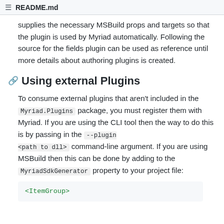README.md
supplies the necessary MSBuild props and targets so that the plugin is used by Myriad automatically. Following the source for the fields plugin can be used as reference until more details about authoring plugins is created.
Using external Plugins
To consume external plugins that aren't included in the Myriad.Plugins package, you must register them with Myriad. If you are using the CLI tool then the way to do this is by passing in the --plugin <path to dll> command-line argument. If you are using MSBuild then this can be done by adding to the MyriadSdkGenerator property to your project file:
<ItemGroup>